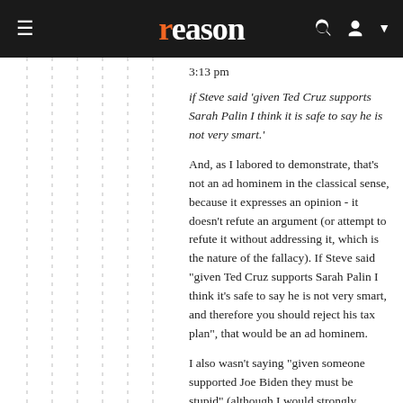reason
3:13 pm
if Steve said 'given Ted Cruz supports Sarah Palin I think it is safe to say he is not very smart.'
And, as I labored to demonstrate, that's not an ad hominem in the classical sense, because it expresses an opinion - it doesn't refute an argument (or attempt to refute it without addressing it, which is the nature of the fallacy). If Steve said "given Ted Cruz supports Sarah Palin I think it's safe to say he is not very smart, and therefore you should reject his tax plan", that would be an ad hominem.
I also wasn't saying "given someone supported Joe Biden they must be stupid" (although I would strongly suspect that to be the case), I was saying "given someone supported two politicians who do the same things they dismiss other politicians who they don't like for doing, they're hypocrites". Here again, that's an opinion, or judgment. It's not an ad hominem unless I suggest we might to reject some argument that are making on that basis.